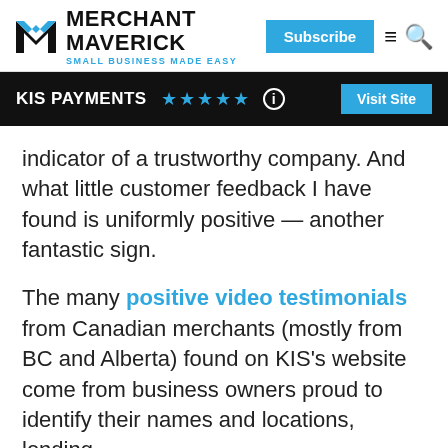MERCHANT MAVERICK — SMALL BUSINESS MADE EASY
KIS PAYMENTS ★★★★★ ⓘ — Visit Site
indicator of a trustworthy company. And what little customer feedback I have found is uniformly positive — another fantastic sign.
The many positive video testimonials from Canadian merchants (mostly from BC and Alberta) found on KIS's website come from business owners proud to identify their names and locations, lending